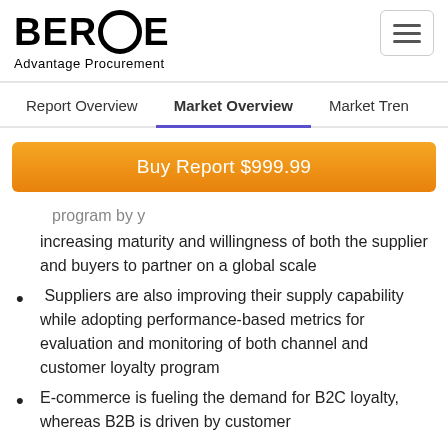BEROE Advantage Procurement
Report Overview | Market Overview | Market Tren
Buy Report $999.99
increasing maturity and willingness of both the supplier and buyers to partner on a global scale
Suppliers are also improving their supply capability while adopting performance-based metrics for evaluation and monitoring of both channel and customer loyalty program
E-commerce is fueling the demand for B2C loyalty, whereas B2B is driven by customer